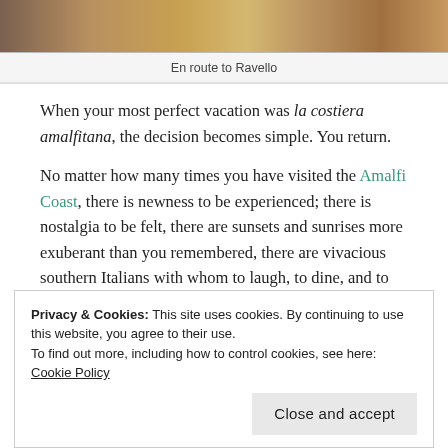[Figure (photo): Cropped top portion of a travel photo, en route to Ravello, showing wooden or structural elements in warm tones.]
En route to Ravello
When your most perfect vacation was la costiera amalfitana, the decision becomes simple. You return.
No matter how many times you have visited the Amalfi Coast, there is newness to be experienced; there is nostalgia to be felt, there are sunsets and sunrises more exuberant than you remembered, there are vivacious southern Italians with whom to laugh, to dine, and to learn the art of living.
Privacy & Cookies: This site uses cookies. By continuing to use this website, you agree to their use.
To find out more, including how to control cookies, see here:
Cookie Policy
Close and accept